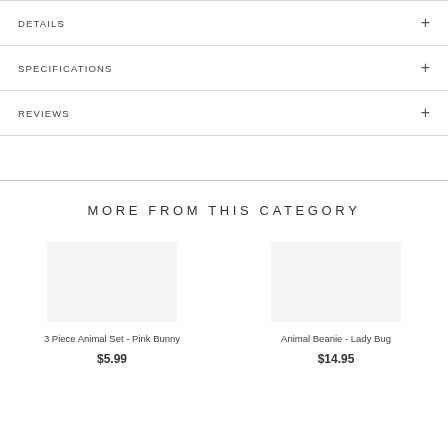DETAILS
SPECIFICATIONS
REVIEWS
MORE FROM THIS CATEGORY
3 Piece Animal Set - Pink Bunny
$5.99
Animal Beanie - Lady Bug
$14.95